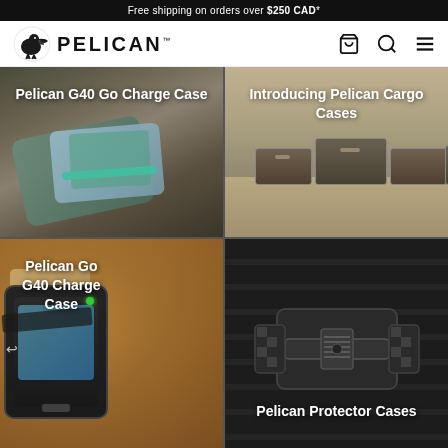Free shipping on orders over $250 CAD*
[Figure (screenshot): Pelican logo with pelican bird icon and PELICAN text]
[Figure (photo): Pelican G40 Go Charge Case open showing phone inside, outdoor rocky background]
[Figure (photo): Introducing Pelican Cargo Cases - large cases on desert terrain]
[Figure (photo): Pelican Go G40 Charge Case submerged/muddy water environment]
[Figure (photo): Pelican Protector Cases close-up of latch mechanism]
[Figure (photo): Partial view - crowd scene outdoors]
[Figure (photo): Partial view - outdoor string lights nighttime scene]